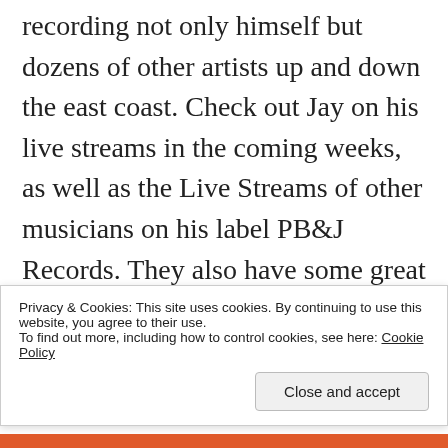recording not only himself but dozens of other artists up and down the east coast. Check out Jay on his live streams in the coming weeks, as well as the Live Streams of other musicians on his label PB&J Records. They also have some great merch for sale as well.
https://www.jaypsarosmusic.com/
Privacy & Cookies: This site uses cookies. By continuing to use this website, you agree to their use.
To find out more, including how to control cookies, see here: Cookie Policy
Close and accept